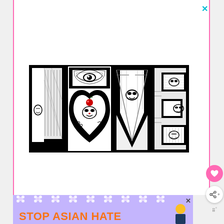[Figure (illustration): Decorative typographic art spelling 'LOVE' in large block letters filled with intricate black and white illustrations. The 'O' is shaped like a heart. Each letter contains detailed artistic drawings of faces, patterns, and abstract designs. A small red apple accent appears in the 'O'.]
[Figure (illustration): Advertisement banner with lavender/purple background showing white flower decorations and bold orange text reading 'STOP ASIAN HATE' with an illustrated figure of a person on the right side.]